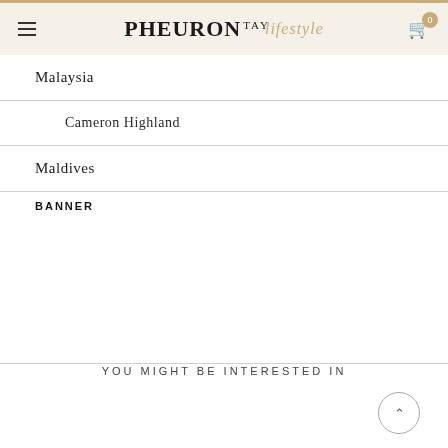PHEURON TAY lifestyle — navigation header with menu icon and cart icon (0 items)
Malaysia
Cameron Highland
Maldives
BANNER
YOU MIGHT BE INTERESTED IN